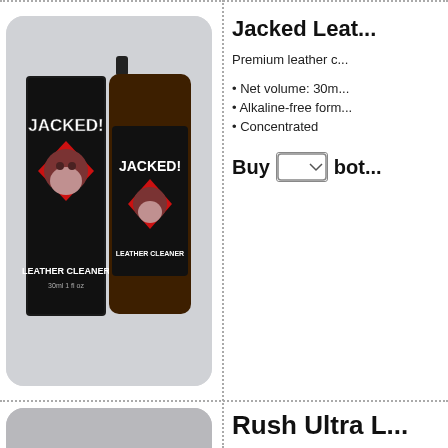[Figure (photo): Product photo of Jacked! Leather Cleaner showing a dark branded box and a brown glass bottle with the Jacked! bulldog logo, on a light grey background, with rounded corners.]
Jacked Leat...
Premium leather c...
Net volume: 30m...
Alkaline-free form...
Concentrated
Buy [dropdown] bot...
[Figure (photo): Partial product image at bottom left, cropped, showing top of another product with rounded corners.]
Rush Ultra L...